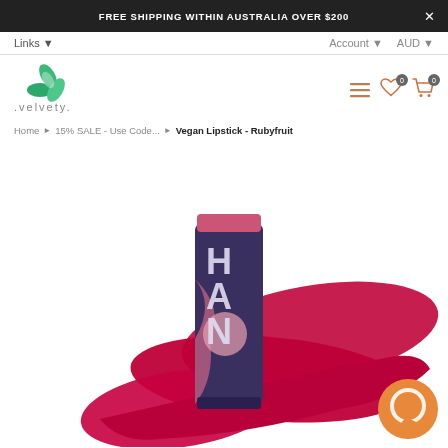FREE SHIPPING WITHIN AUSTRALIA OVER $200
Links ▾
Account ▾   AUD ▾
[Figure (logo): Velvety brand logo with green leaf recycling icon and .velvety. text]
[Figure (illustration): Navigation icons: hamburger menu, heart wishlist with 0 badge, shopping cart with 0 badge]
Home ▸ 15% SALE - Use Code... ▸ Vegan Lipstick - Rubyfruit
[Figure (photo): HAN vegan lipstick in dark navy and pink packaging, shown with a ruby red lip color swatch smeared behind it]